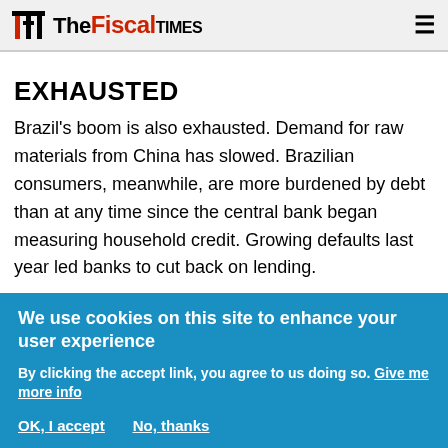THE Fiscal TIMES
EXHAUSTED
Brazil's boom is also exhausted. Demand for raw materials from China has slowed. Brazilian consumers, meanwhile, are more burdened by debt than at any time since the central bank began measuring household credit. Growing defaults last year led banks to cut back on lending.
After average yearly economic growth of more than four percent during Lula's two terms, average
We use cookies on this site to enhance your user experience
By clicking the accept link, you agree to us doing so. Give me more info
OK, I accept    No, thanks